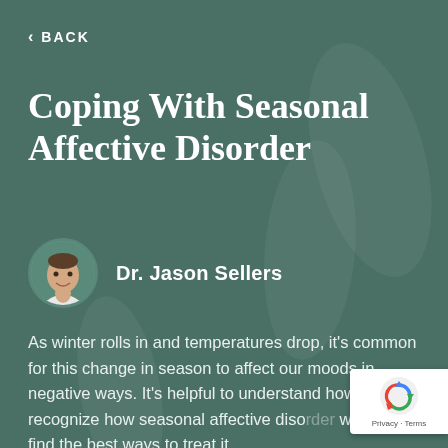< BACK
Coping With Seasonal Affective Disorder
Dr. Jason Sellers
As winter rolls in and temperatures drop, it's common for this change in season to affect our moods in negative ways. It's helpful to understand how to recognize how seasonal affective disorder works to find the best ways to treat it.
[Figure (logo): reCAPTCHA badge with logo and Privacy - Terms links]